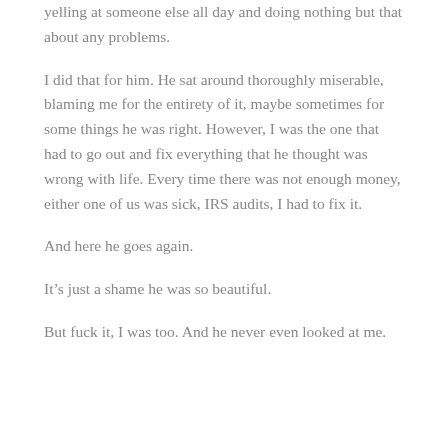yelling at someone else all day and doing nothing but that about any problems.
I did that for him. He sat around thoroughly miserable, blaming me for the entirety of it, maybe sometimes for some things he was right. However, I was the one that had to go out and fix everything that he thought was wrong with life. Every time there was not enough money, either one of us was sick, IRS audits, I had to fix it.
And here he goes again.
It’s just a shame he was so beautiful.
But fuck it, I was too. And he never even looked at me.